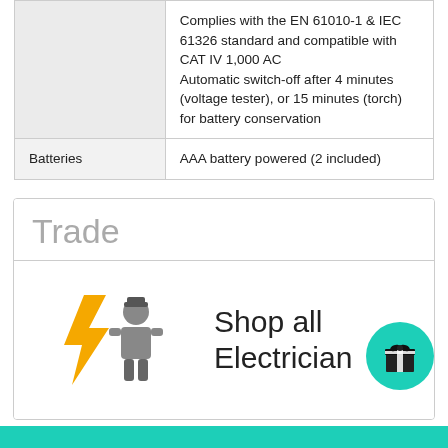|  |  |
| --- | --- |
|  | Complies with the EN 61010-1 & IEC 61326 standard and compatible with CAT IV 1,000 AC
Automatic switch-off after 4 minutes (voltage tester), or 15 minutes (torch) for battery conservation |
| Batteries | AAA battery powered (2 included) |
Trade
[Figure (illustration): Electrician trade icon: yellow lightning bolt with grey worker figure]
Shop all Electrician
[Figure (other): Green circle gift/present icon button]
[Figure (other): Teal/green bottom banner bar]